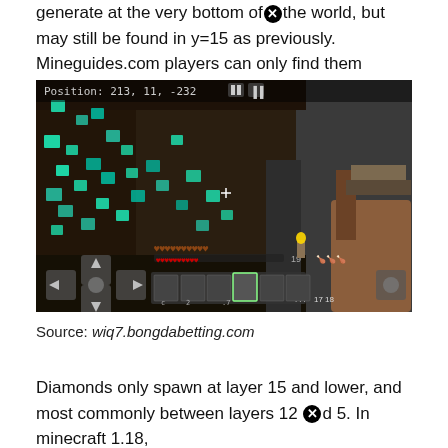generate at the very bottom of the world, but may still be found in y=15 as previously. Mineguides.com players can only find them between y levels 0 and 16.
[Figure (screenshot): Minecraft mobile screenshot showing a cave full of diamond ore blocks at position 213, 11, -232. The HUD shows hearts, hunger, and hotbar inventory with a pickaxe selected.]
Source: wiq7.bongdabetting.com
Diamonds only spawn at layer 15 and lower, and most commonly between layers 12 and 5. In minecraft 1.18,